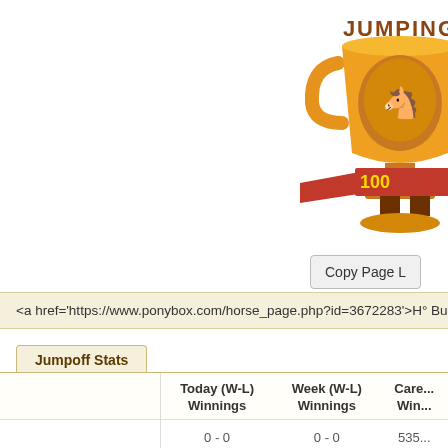[Figure (illustration): Gold trophy cup with 'JUMPING' text above and '100 Wins' ribbon banner below, with a horse and rider silhouette in the center of the cup]
Copy Page L
<a href='https://www.ponybox.com/horse_page.php?id=3672283'>H° Bu
Jumpoff Stats
|  | Today (W-L)
Winnings | Week (W-L)
Winnings | Care...
Win... |
| --- | --- | --- | --- |
|  | 0 - 0 | 0 - 0 | 535... |
|  | 0 | 0 | 38... |